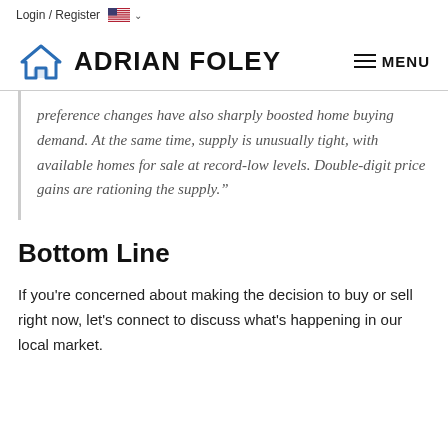Login / Register
ADRIAN FOLEY
preference changes have also sharply boosted home buying demand. At the same time, supply is unusually tight, with available homes for sale at record-low levels. Double-digit price gains are rationing the supply."
Bottom Line
If you're concerned about making the decision to buy or sell right now, let's connect to discuss what's happening in our local market.